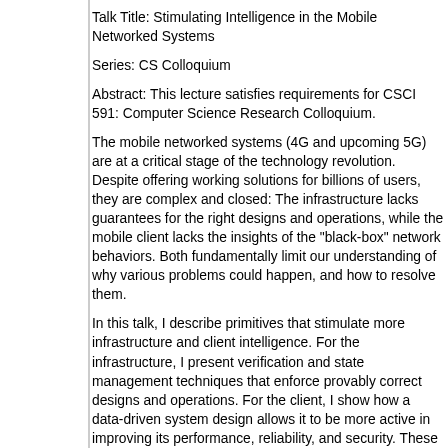Talk Title: Stimulating Intelligence in the Mobile Networked Systems
Series: CS Colloquium
Abstract: This lecture satisfies requirements for CSCI 591: Computer Science Research Colloquium.
The mobile networked systems (4G and upcoming 5G) are at a critical stage of the technology revolution. Despite offering working solutions for billions of users, they are complex and closed: The infrastructure lacks guarantees for the right designs and operations, while the mobile client lacks the insights of the "black-box" network behaviors. Both fundamentally limit our understanding of why various problems could happen, and how to resolve them.
In this talk, I describe primitives that stimulate more infrastructure and client intelligence. For the infrastructure, I present verification and state management techniques that enforce provably correct designs and operations. For the client, I show how a data-driven system design allows it to be more active in improving its performance, reliability, and security. These results suggest that the future systems (5G) should be equipped with more intelligence, and make themselves easy to understand and use.